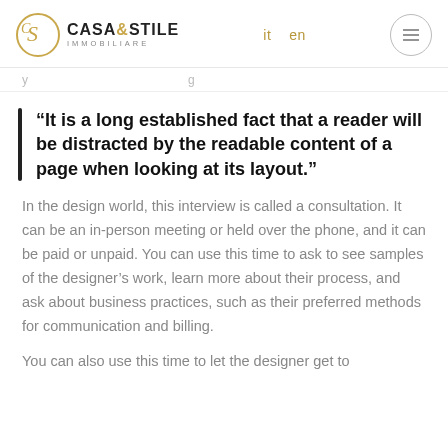CASA&STILE IMMOBILIARE — it en
...y ...g
“It is a long established fact that a reader will be distracted by the readable content of a page when looking at its layout.”
In the design world, this interview is called a consultation. It can be an in-person meeting or held over the phone, and it can be paid or unpaid. You can use this time to ask to see samples of the designer’s work, learn more about their process, and ask about business practices, such as their preferred methods for communication and billing.
You can also use this time to let the designer get to